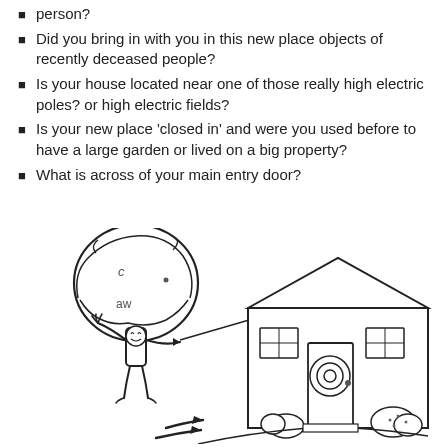person?
Did you bring in with you in this new place objects of recently deceased people?
Is your house located near one of those really high electric poles? or high electric fields?
Is your new place 'closed in' and were you used before to have a large garden or lived on a big property?
What is across of your main entry door?
[Figure (illustration): Black and white cartoon illustration of a humanoid tree character with a fluffy treetop head, standing and gesturing toward a house. The house has a front door with a bullseye/target symbol on it, two windows, and a path leading to it. There are arrows on the ground pointing toward the house and small bushes near the house.]